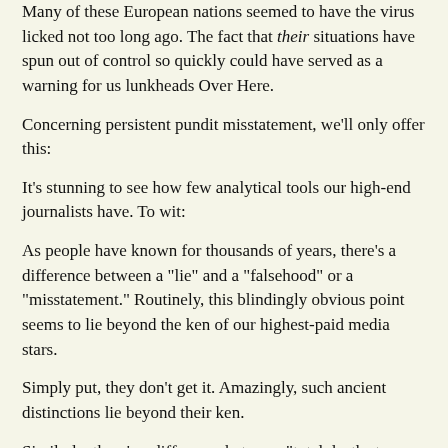Many of these European nations seemed to have the virus licked not too long ago. The fact that their situations have spun out of control so quickly could have served as a warning for us lunkheads Over Here.
Concerning persistent pundit misstatement, we'll only offer this:
It's stunning to see how few analytical tools our high-end journalists have. To wit:
As people have known for thousands of years, there's a difference between a "lie" and a "falsehood" or a "misstatement." Routinely, this blindingly obvious point seems to lie beyond the ken of our highest-paid media stars.
Simply put, they don't get it. Amazingly, such ancient distinctions lie beyond their ken.
Similarly, there's a difference between "total deaths to date" and "current daily or weekly death rate." And no, it doesn't make sense to draw certain comparisons between two countries without adjusting for the size of their differing populations.
If major journalists can't grasp such blindingly obvious points, what